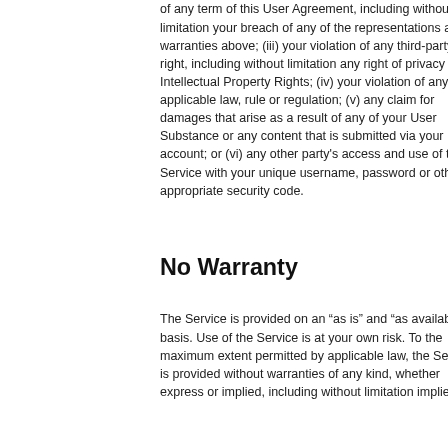of any term of this User Agreement, including without limitation your breach of any of the representations and warranties above; (iii) your violation of any third-party right, including without limitation any right of privacy or Intellectual Property Rights; (iv) your violation of any applicable law, rule or regulation; (v) any claim for damages that arise as a result of any of your User Substance or any content that is submitted via your account; or (vi) any other party's access and use of the Service with your unique username, password or other appropriate security code.
No Warranty
The Service is provided on an “as is” and “as available” basis. Use of the Service is at your own risk. To the maximum extent permitted by applicable law, the Service is provided without warranties of any kind, whether express or implied, including without limitation implied